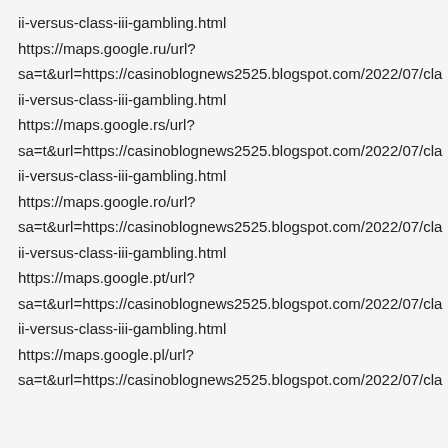ii-versus-class-iii-gambling.html
https://maps.google.ru/url?
sa=t&url=https://casinoblognews2525.blogspot.com/2022/07/cla
ii-versus-class-iii-gambling.html
https://maps.google.rs/url?
sa=t&url=https://casinoblognews2525.blogspot.com/2022/07/cla
ii-versus-class-iii-gambling.html
https://maps.google.ro/url?
sa=t&url=https://casinoblognews2525.blogspot.com/2022/07/cla
ii-versus-class-iii-gambling.html
https://maps.google.pt/url?
sa=t&url=https://casinoblognews2525.blogspot.com/2022/07/cla
ii-versus-class-iii-gambling.html
https://maps.google.pl/url?
sa=t&url=https://casinoblognews2525.blogspot.com/2022/07/cla